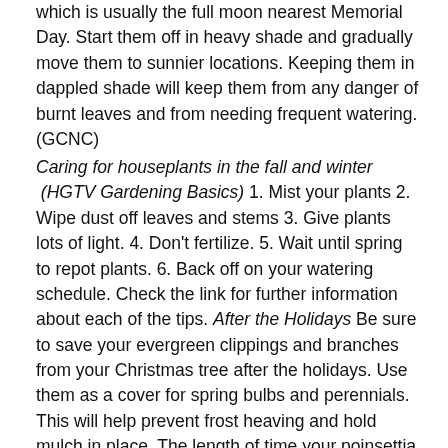which is usually the full moon nearest Memorial Day. Start them off in heavy shade and gradually move them to sunnier locations. Keeping them in dappled shade will keep them from any danger of burnt leaves and from needing frequent watering. (GCNC)
Caring for houseplants in the fall and winter (HGTV Gardening Basics) 1. Mist your plants 2. Wipe dust off leaves and stems 3. Give plants lots of light. 4. Don't fertilize. 5. Wait until spring to repot plants. 6. Back off on your watering schedule. Check the link for further information about each of the tips. After the Holidays Be sure to save your evergreen clippings and branches from your Christmas tree after the holidays. Use them as a cover for spring bulbs and perennials. This will help prevent frost heaving and hold mulch in place. The length of time your poinsettia will give you pleasure in your home